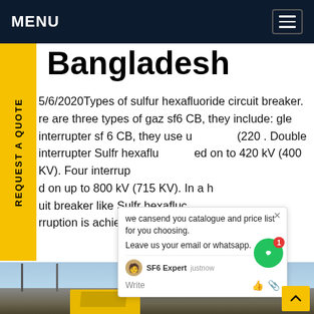MENU
Bangladesh
5/6/2020Types of sulfur hexafluoride circuit breaker. re are three types of gaz sf6 CB, they include: gle interrupter sf 6 CB, they use u (220 . Double interrupter Sulfr hexaflu ed on to 420 kV (400 KV). Four interrup d on up to 800 kV (715 KV). In a h uit breaker like Sulfr hexafluc rruption is achieved byGet price
[Figure (screenshot): Chat popup overlay showing message: 'we cansend you catalogue and price list for you choosing. Leave us your email or whatsapp.' with SF6 Expert avatar and timestamp 'justnow']
[Figure (photo): Photograph of electrical substation with circuit breakers and transmission infrastructure, yellow maintenance vehicle visible in foreground]